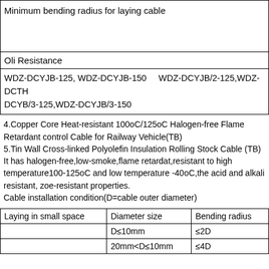Minimum bending radius for laying cable
Oli Resistance
WDZ-DCYJB-125, WDZ-DCYJB-150    WDZ-DCYJB/2-125,WDZ-DCTHB/3-125,WDZ-DCYJB/3-150
4.Copper Core Heat-resistant 100oC/125oC Halogen-free Flame Retardant control Cable for Railway Vehicle(TB)
5.Tin Wall Cross-linked Polyolefin Insulation Rolling Stock Cable (TB)
It has halogen-free,low-smoke,flame retardat,resistant to high temperature100-125oC and low temperature -40oC,the acid and alkali resistant, zoe-resistant properties.
Cable installation condition(D=cable outer diameter)
| Laying in small space | Diameter size | Bending radius |
| --- | --- | --- |
|  | D≤10mm | ≤2D |
|  | 20mm<D≤10mm | ≤4D |